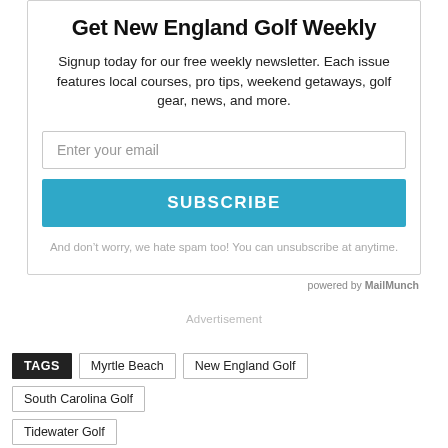Get New England Golf Weekly
Signup today for our free weekly newsletter. Each issue features local courses, pro tips, weekend getaways, golf gear, news, and more.
Enter your email
SUBSCRIBE
And don’t worry, we hate spam too! You can unsubscribe at anytime.
powered by MailMunch
Advertisement
TAGS   Myrtle Beach   New England Golf   South Carolina Golf   Tidewater Golf